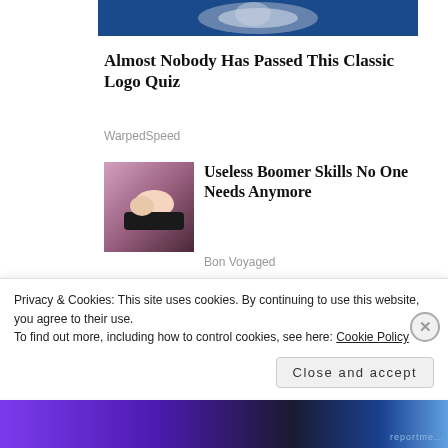[Figure (photo): Partial top banner image with blue background and silver/coin-like design]
Almost Nobody Has Passed This Classic Logo Quiz
WarpedSpeed
[Figure (photo): Woman in black top lying on a pink surface]
Useless Boomer Skills No One Needs Anymore
Bon Voyaged
[Figure (photo): Young blonde toddler girl looking at camera]
[Photos] Toddler Missing For 2 Days: Man Opens Door
Privacy & Cookies: This site uses cookies. By continuing to use this website, you agree to their use. To find out more, including how to control cookies, see here: Cookie Policy
Close and accept